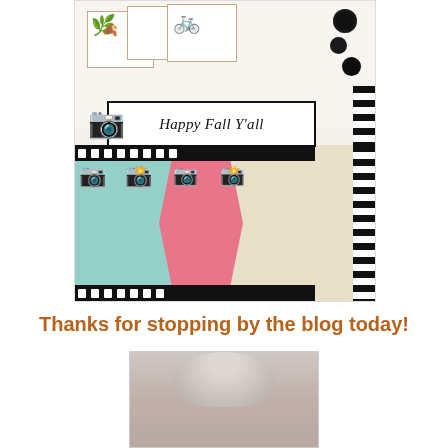[Figure (photo): A handmade craft card featuring autumn theme. The card has postage stamp frames with a green rake and fall flowers, black buttons in the top right, a white banner reading 'Happy Fall Y'all' with a vintage camera to the left, and a film strip border at the bottom with multiple vintage camera images on a colorful collage background (teal diamond pattern, pink burst, cream with dots). Black and white stripe accents on the right side.]
Thanks for stopping by the blog today!
[Figure (photo): Partial view of a person's head showing gray/silver hair, cropped at the chin, on a neutral gray background.]